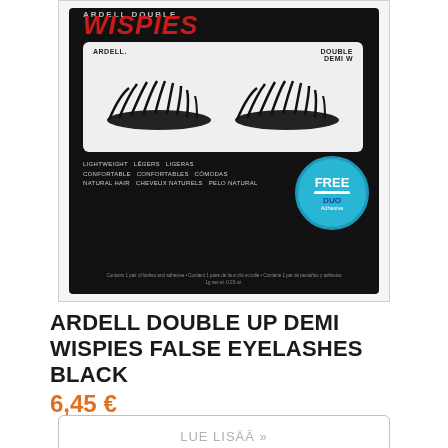[Figure (photo): Product packaging photo for Ardell Double Up Demi Wispies false eyelashes in black packaging with red 'WISPIES' text, showing two pairs of false eyelashes and a FREE DUO Adhesive badge]
ARDELL DOUBLE UP DEMI WISPIES FALSE EYELASHES BLACK
6,45 €
LUE LISÄÄ »